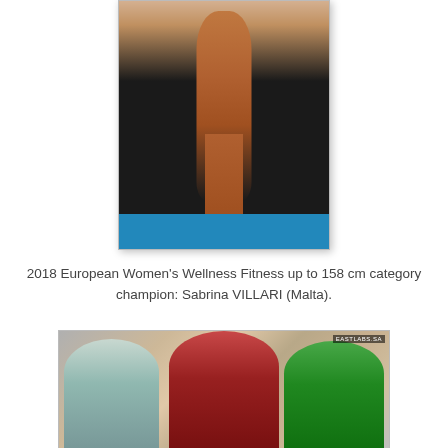[Figure (photo): Bodybuilding competition photo of a female athlete posing on stage in a red bikini with high heels, holding a trophy. Dark background with blue stage floor.]
2018 European Women's Wellness Fitness up to 158 cm category champion: Sabrina VILLARI (Malta).
[Figure (photo): Group photo of three female athletes in bikinis posing together holding medals, with EASTLABS watermark visible in the upper right corner.]